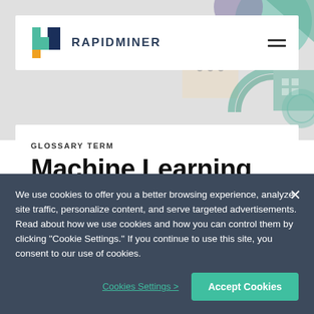[Figure (logo): RapidMiner logo with colored blocks and brand name]
[Figure (illustration): Abstract geometric decorative hero background with teal, purple, and beige shapes]
GLOSSARY TERM
Machine Learning
We use cookies to offer you a better browsing experience, analyze site traffic, personalize content, and serve targeted advertisements. Read about how we use cookies and how you can control them by clicking "Cookie Settings." If you continue to use this site, you consent to our use of cookies.
Cookies Settings >
Accept Cookies